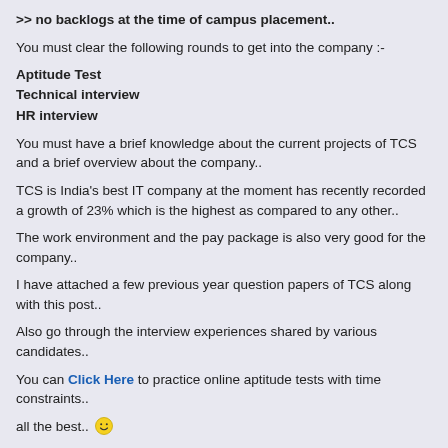>> no backlogs at the time of campus placement..
You must clear the following rounds to get into the company :-
Aptitude Test
Technical interview
HR interview
You must have a brief knowledge about the current projects of TCS and a brief overview about the company..
TCS is India's best IT company at the moment has recently recorded a growth of 23% which is the highest as compared to any other..
The work environment and the pay package is also very good for the company..
I have attached a few previous year question papers of TCS along with this post..
Also go through the interview experiences shared by various candidates..
You can Click Here to practice online aptitude tests with time constraints..
all the best.. 🙂
With Warm Regards
Nitz